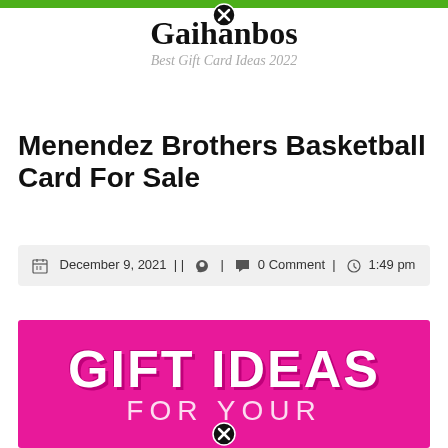Gaihanbos
Best Gift Card Ideas 2022
Menendez Brothers Basketball Card For Sale
December 9, 2021 || | 0 Comment | 1:49 pm
[Figure (illustration): Pink banner with white bold text reading GIFT IDEAS and FOR YOUR]